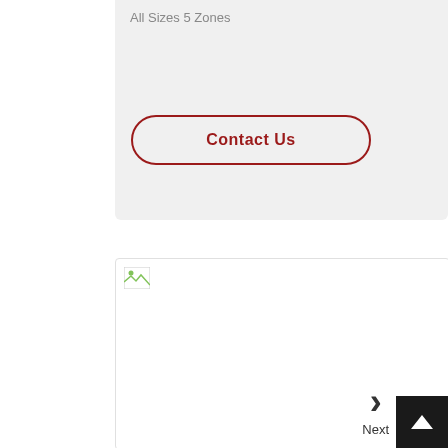All Sizes 5 Zones
Contact Us
[Figure (screenshot): A white card area with a broken image icon in the top left corner]
Next
[Figure (illustration): Black scroll-to-top button with white upward triangle arrow in bottom right corner]